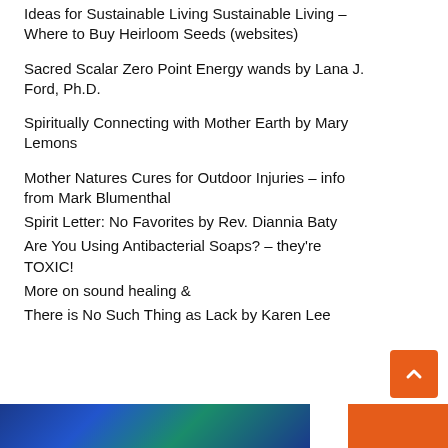Ideas for Sustainable Living Sustainable Living – Where to Buy Heirloom Seeds (websites)
Sacred Scalar Zero Point Energy wands by Lana J. Ford, Ph.D.
Spiritually Connecting with Mother Earth by Mary Lemons
Mother Natures Cures for Outdoor Injuries – info from Mark Blumenthal
Spirit Letter: No Favorites by Rev. Diannia Baty
Are You Using Antibacterial Soaps? – they're TOXIC!
More on sound healing &
There is No Such Thing as Lack by Karen Lee
[Figure (photo): Blue and green image strip at bottom left of page, and orange strip at bottom right]